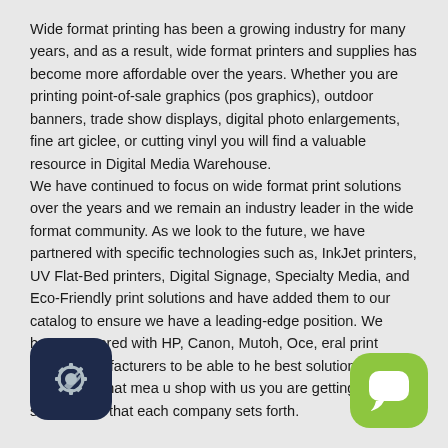Wide format printing has been a growing industry for many years, and as a result, wide format printers and supplies has become more affordable over the years. Whether you are printing point-of-sale graphics (pos graphics), outdoor banners, trade show displays, digital photo enlargements, fine art giclee, or cutting vinyl you will find a valuable resource in Digital Media Warehouse.
We have continued to focus on wide format print solutions over the years and we remain an industry leader in the wide format community. As we look to the future, we have partnered with specific technologies such as, InkJet printers, UV Flat-Bed printers, Digital Signage, Specialty Media, and Eco-Friendly print solutions and have added them to our catalog to ensure we have a leading-edge position. We have partnered with HP, Canon, Mutoh, Oce, eral print media manufacturers to be able to he best solutions for your printshop. That mea u shop with us you are getting the same stand that each company sets forth.
[Figure (logo): Dark blue rounded square icon with a gear and wrench/tool symbol inside]
[Figure (logo): Green rounded square icon with a speech bubble / chat symbol inside]